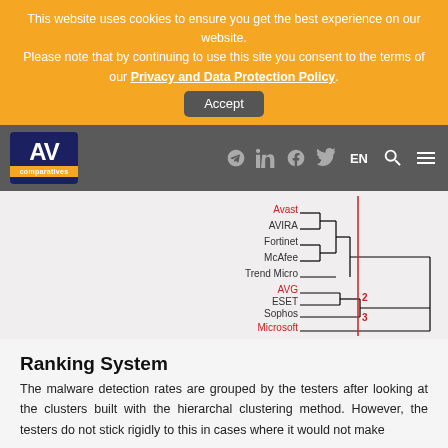This website uses cookies to ensure you get the best experience on our website.
Please note that by continuing to use this site you consent to the terms of our Privacy and Data Protection Policy.
Accept
[Figure (other): AV Comparatives website navigation bar with logo, social icons, and hamburger menu]
[Figure (other): Hierarchical clustering dendrogram showing antivirus products grouped by malware detection rates. Products listed: Avast, AVIRA, Fortinet, McAfee, Trend Micro, AVG (red), ESET, Sophos, Microsoft (red). Groups labeled 2 and 3. A vertical red line indicates a threshold.]
Ranking System
The malware detection rates are grouped by the testers after looking at the clusters built with the hierarchal clustering method. However, the testers do not stick rigidly to this in cases where it would not make